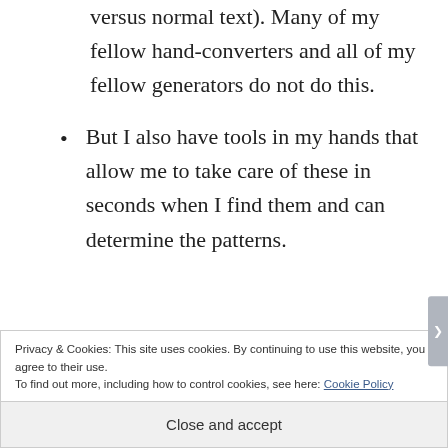versus normal text). Many of my fellow hand-converters and all of my fellow generators do not do this.
But I also have tools in my hands that allow me to take care of these in seconds when I find them and can determine the patterns.
Privacy & Cookies: This site uses cookies. By continuing to use this website, you agree to their use.
To find out more, including how to control cookies, see here: Cookie Policy
Close and accept